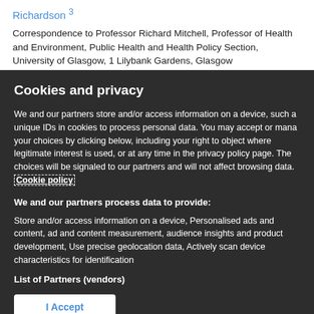Richardson 3
Correspondence to Professor Richard Mitchell, Professor of Health and Environment, Public Health and Health Policy Section, University of Glasgow, 1 Lilybank Gardens, Glasgow
Cookies and privacy
We and our partners store and/or access information on a device, such as unique IDs in cookies to process personal data. You may accept or manage your choices by clicking below, including your right to object where legitimate interest is used, or at any time in the privacy policy page. These choices will be signaled to our partners and will not affect browsing data. Cookie policy
We and our partners process data to provide:
Store and/or access information on a device, Personalised ads and content, ad and content measurement, audience insights and product development, Use precise geolocation data, Actively scan device characteristics for identification
List of Partners (vendors)
I Accept